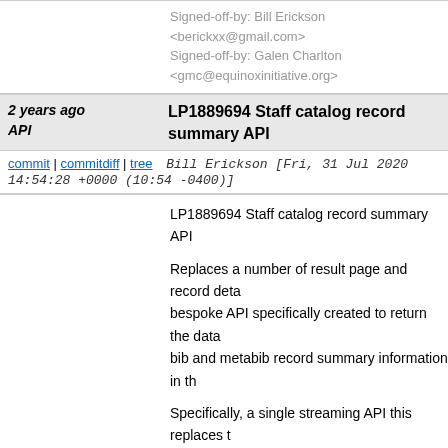Signed-off-by: Bill Erickson <berickxx@gmail.com>
Signed-off-by: Galen Charlton <gmc@equinoxinitiative.org>
2 years ago   LP1889694 Staff catalog record summary API
commit | commitdiff | tree   Bill Erickson [Fri, 31 Jul 2020 14:54:28 +0000 (10:54 -0400)]
LP1889694 Staff catalog record summary API
Replaces a number of result page and record deta bespoke API specifically created to return the data bib and metabib record summary information in th
Specifically, a single streaming API this replaces t
* fleshed record retrieval
** including record display fields and attributes pro
* copy count retrieval
* hold count retrieval
The end result is 22 API calls per results page rep
Signed-off-by: Bill Erickson <berickxx@gmail.com>
Signed-off-by: Galen Charlton